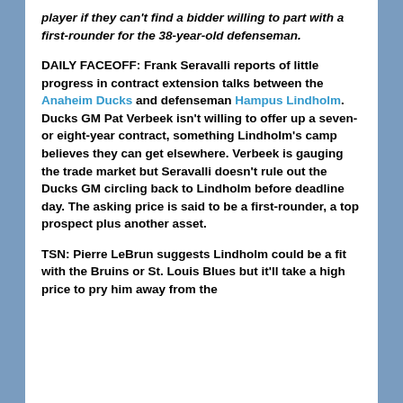player if they can't find a bidder willing to part with a first-rounder for the 38-year-old defenseman.
DAILY FACEOFF: Frank Seravalli reports of little progress in contract extension talks between the Anaheim Ducks and defenseman Hampus Lindholm. Ducks GM Pat Verbeek isn't willing to offer up a seven- or eight-year contract, something Lindholm's camp believes they can get elsewhere. Verbeek is gauging the trade market but Seravalli doesn't rule out the Ducks GM circling back to Lindholm before deadline day. The asking price is said to be a first-rounder, a top prospect plus another asset.
TSN: Pierre LeBrun suggests Lindholm could be a fit with the Bruins or St. Louis Blues but it'll take a high price to pry him away from the